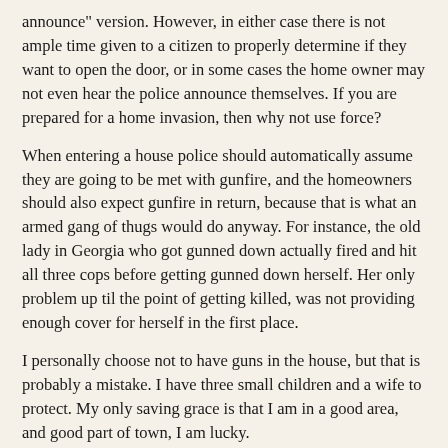announce" version. However, in either case there is not ample time given to a citizen to properly determine if they want to open the door, or in some cases the home owner may not even hear the police announce themselves. If you are prepared for a home invasion, then why not use force?
When entering a house police should automatically assume they are going to be met with gunfire, and the homeowners should also expect gunfire in return, because that is what an armed gang of thugs would do anyway. For instance, the old lady in Georgia who got gunned down actually fired and hit all three cops before getting gunned down herself. Her only problem up til the point of getting killed, was not providing enough cover for herself in the first place.
I personally choose not to have guns in the house, but that is probably a mistake. I have three small children and a wife to protect. My only saving grace is that I am in a good area, and good part of town, I am lucky.
"I have no reason to believe that they would pay their taxes were it not for eventual threat of force" Well guess what, that is exactly what the federal government wants you to believe also. The